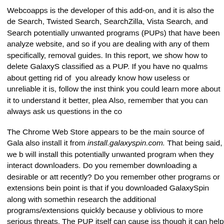Webcoapps is the developer of this add-on, and it is also the developer of Search, Twisted Search, SearchZilla, Vista Search, and Search... potentially unwanted programs (PUPs) that have been analyzed on our website, and so if you are dealing with any of them specifically, removal guides. In this report, we show how to delete GalaxySpin, classified as a PUP. If you have no qualms about getting rid of it and you already know how useless or unreliable it is, follow the instructions. think you could learn more about it to understand it better, please... Also, remember that you can always ask us questions in the co...
The Chrome Web Store appears to be the main source of GalaxySpin; also install it from install.galaxyspin.com. That being said, we b... will install this potentially unwanted program when they interact with downloaders. Do you remember downloading a desirable or att... recently? Do you remember other programs or extensions being... point is that if you downloaded GalaxySpin along with somethin... research the additional programs/extensions quickly because y... oblivious to more serious threats. The PUP itself can cause iss... though it can help you search the web, it does that in an unrelia... installed the PUP already, you know that it represents itself as a... According to our research team, the PUP changes the default s... feed.galaxyspin.com. If you enter keywords into the PUP's sea...